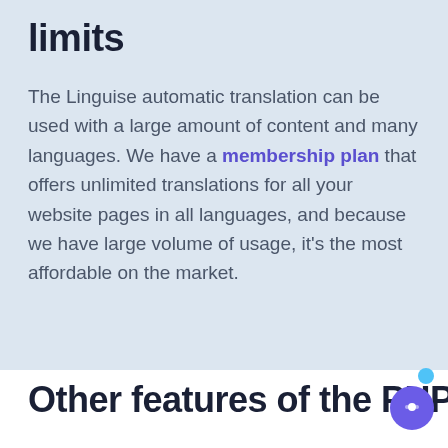limits
The Linguise automatic translation can be used with a large amount of content and many languages. We have a membership plan that offers unlimited translations for all your website pages in all languages, and because we have large volume of usage, it's the most affordable on the market.
Other features of the PHP and JS automatic